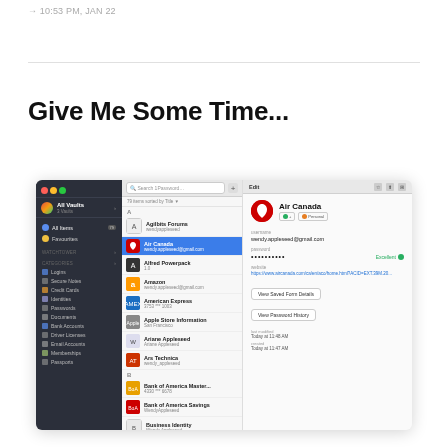→ 10:53 PM, JAN 22
Give Me Some Time...
[Figure (screenshot): Screenshot of 1Password desktop application showing Air Canada login entry selected, with sidebar showing categories and list of accounts including Agilbits Forums, Air Canada (selected), Alfred Powerpack, Amazon, American Express, Apple Store Information, Ariane Appleseed, Ars Technica, Bank of America Master..., Bank of America Savings, Business Identity. Right panel shows Air Canada entry with username wendy.appleseed@gmail.com, password dots, Excellent badge, website URL, View Saved Form Details and View Password History buttons, and last modified/created timestamps.]